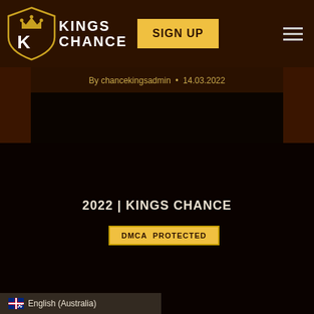[Figure (logo): Kings Chance casino logo: shield with crown and letter K, with text KINGS CHANCE in white bold letters]
[Figure (other): SIGN UP button in golden/yellow color]
By chancekingsadmin • 14.03.2022
2022 | KINGS CHANCE
[Figure (other): DMCA PROTECTED badge in gold/yellow]
English (Australia)